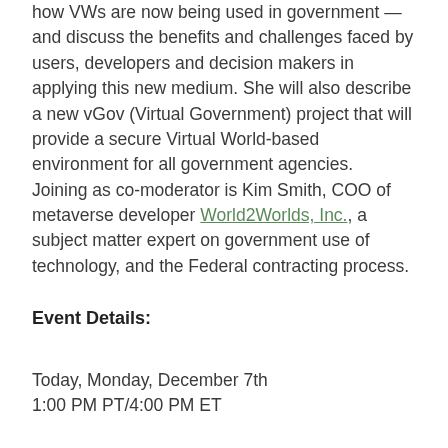how VWs are now being used in government — and discuss the benefits and challenges faced by users, developers and decision makers in applying this new medium. She will also describe a new vGov (Virtual Government) project that will provide a secure Virtual World-based environment for all government agencies.
Joining as co-moderator is Kim Smith, COO of metaverse developer World2Worlds, Inc., a subject matter expert on government use of technology, and the Federal contracting process.
Event Details:
Today, Monday, December 7th
1:00 PM PT/4:00 PM ET